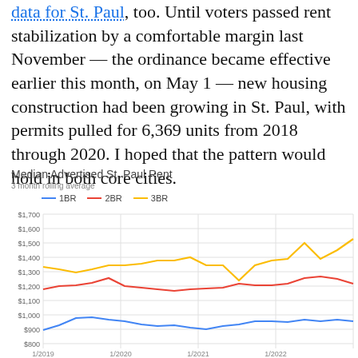data for St. Paul, too. Until voters passed rent stabilization by a comfortable margin last November — the ordinance became effective earlier this month, on May 1 — new housing construction had been growing in St. Paul, with permits pulled for 6,369 units from 2018 through 2020. I hoped that the pattern would hold in both core cities.
[Figure (line-chart): Median Advertised St. Paul Rent]